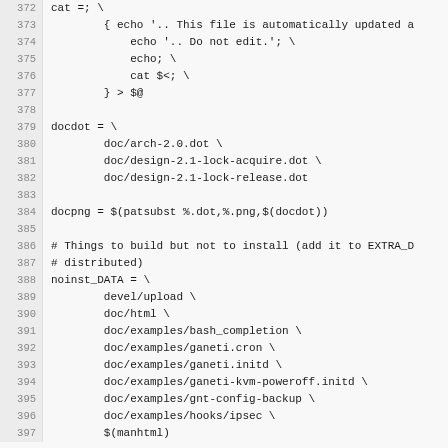Source code listing lines 372-397 of a Makefile
372: cat =; \
373: { echo '.. This file is automatically updated a
374:     echo '.. Do not edit.'; \
375:     echo; \
376:     cat $<; \
377: } > $@
378: (empty)
379: docdot = \
380:         doc/arch-2.0.dot \
381:         doc/design-2.1-lock-acquire.dot \
382:         doc/design-2.1-lock-release.dot
383: (empty)
384: docpng = $(patsubst %.dot,%.png,$(docdot))
385: (empty)
386: # Things to build but not to install (add it to EXTRA_D
387: # distributed)
388: noinst_DATA = \
389:         devel/upload \
390:         doc/html \
391:         doc/examples/bash_completion \
392:         doc/examples/ganeti.cron \
393:         doc/examples/ganeti.initd \
394:         doc/examples/ganeti-kvm-poweroff.initd \
395:         doc/examples/gnt-config-backup \
396:         doc/examples/hooks/ipsec \
397:         $(manhtml)